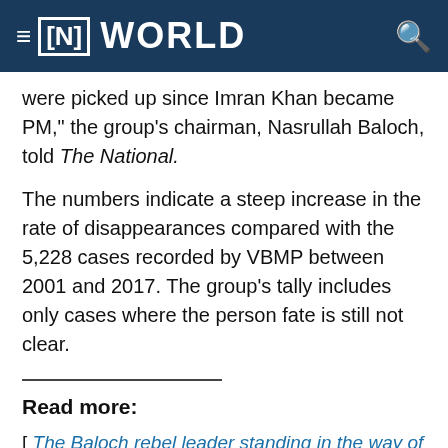≡ [N] WORLD
were picked up since Imran Khan became PM," the group's chairman, Nasrullah Baloch, told The National.
The numbers indicate a steep increase in the rate of disappearances compared with the 5,228 cases recorded by VBMP between 2001 and 2017. The group's tally includes only cases where the person fate is still not clear.
Read more:
[ The Baloch rebel leader standing in the way of Pakistan's economic goals ]